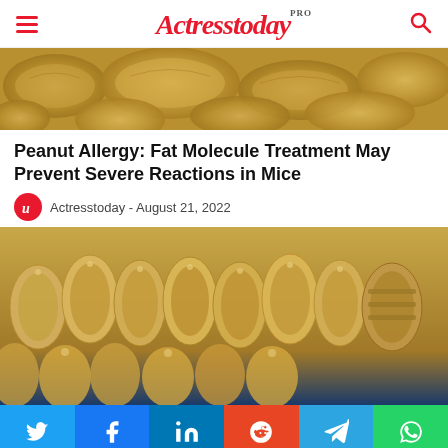Actresstoday PRO
[Figure (photo): Close-up photo of peanuts in their shells]
Peanut Allergy: Fat Molecule Treatment May Prevent Severe Reactions in Mice
Actresstoday - August 21, 2022
[Figure (photo): Photo of multiple sandals/shoes arranged together]
Social share buttons: Twitter, Facebook, LinkedIn, Reddit, Telegram, WhatsApp